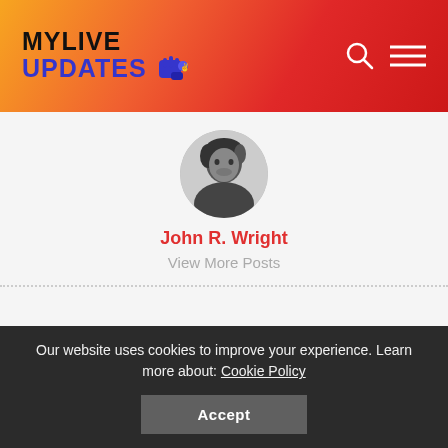MYLIVE UPDATES
[Figure (photo): Black and white circular profile photo of a young man]
John R. Wright
View More Posts
Social media ninja. Freelance web trailblazer. Extreme problem solver. Music fanatic. Spent several months marketing pubic lice in the financial sector. Spent 2002-2008 supervising the production of ice cream
Our website uses cookies to improve your experience. Learn more about: Cookie Policy
Accept